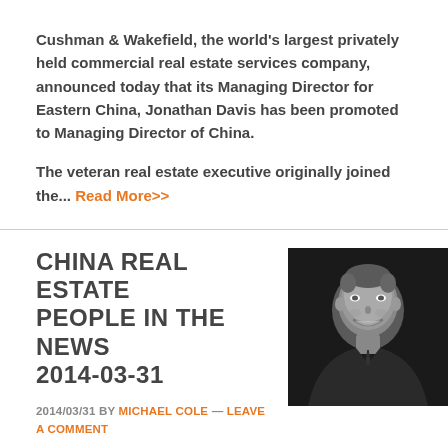Cushman & Wakefield, the world's largest privately held commercial real estate services company, announced today that its Managing Director for Eastern China, Jonathan Davis has been promoted to Managing Director of China.
The veteran real estate executive originally joined the... Read More>>
CHINA REAL ESTATE PEOPLE IN THE NEWS 2014-03-31
2014/03/31 BY MICHAEL COLE — LEAVE A COMMENT
[Figure (photo): Black and white headshot photo of a smiling man in a suit]